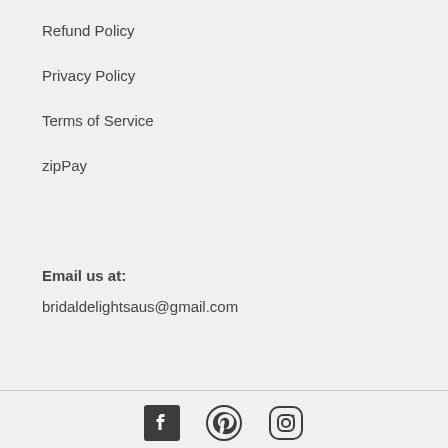Refund Policy
Privacy Policy
Terms of Service
zipPay
Email us at:
bridaldelightsaus@gmail.com
[Figure (other): Social media icons: Facebook, Pinterest, Instagram]